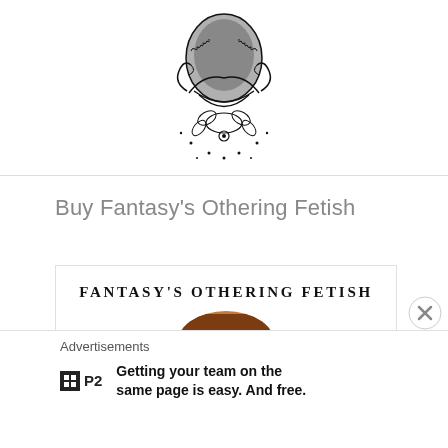[Figure (illustration): Decorative mandala/ornamental illustration with a portrait photo in the center, black line art on white background, dots scattered around]
Buy Fantasy’s Othering Fetish
[Figure (photo): Book cover for 'Fantasy's Othering Fetish' showing title text in spaced serif capitals at top, and a person's face partially visible below]
Advertisements
[Figure (logo): P2 logo: small black square icon with grid symbol followed by bold P2 text]
Getting your team on the same page is easy. And free.